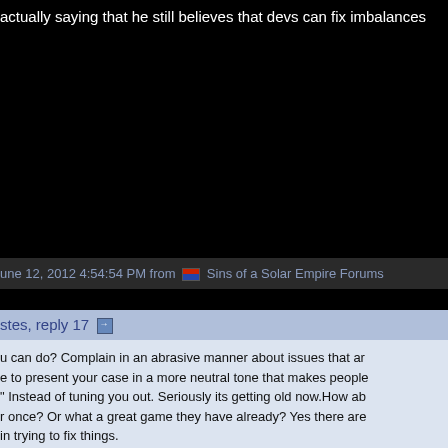actually saying that he still believes that devs can fix imbalances
June 12, 2012 4:54:54 PM from Sins of a Solar Empire Forums
stes, reply 17
u can do? Complain in an abrasive manner about issues that are e to present your case in a more neutral tone that makes people" Instead of tuning you out. Seriously its getting old now.How ab r once? Or what a great game they have already? Yes there are in trying to fix things.